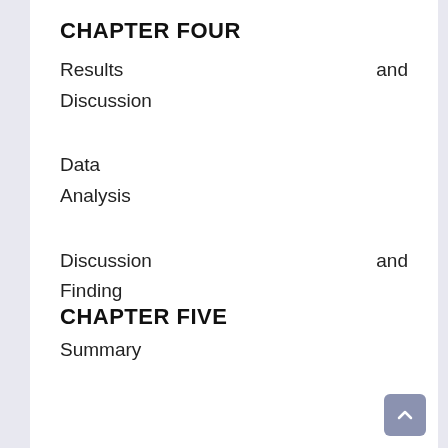CHAPTER FOUR
Results and Discussion
Data Analysis
Discussion and Finding
CHAPTER FIVE
Summary